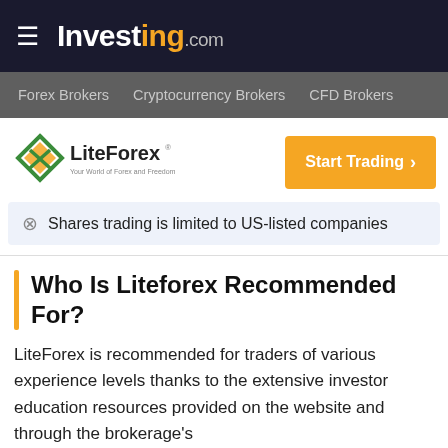≡ Investing.com
Forex Brokers   Cryptocurrency Brokers   CFD Brokers
[Figure (logo): LiteForex logo with green and yellow diamond shape and text 'LiteForex Your World of Forex and Freedom']
Start Trading >
Shares trading is limited to US-listed companies
Who Is Liteforex Recommended For?
LiteForex is recommended for traders of various experience levels thanks to the extensive investor education resources provided on the website and through the brokerage's